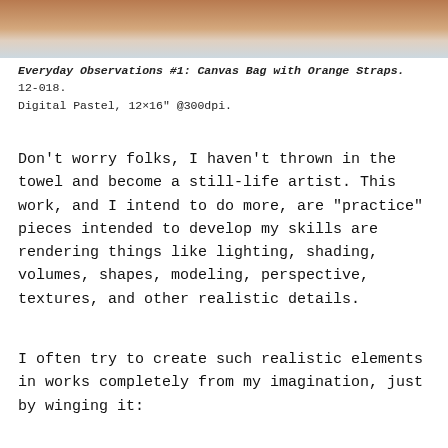[Figure (photo): Top portion of a photo showing a canvas bag with orange straps, partially cropped]
Everyday Observations #1: Canvas Bag with Orange Straps. 12-018. Digital Pastel, 12×16" @300dpi.
Don't worry folks, I haven't thrown in the towel and become a still-life artist. This work, and I intend to do more, are "practice" pieces intended to develop my skills are rendering things like lighting, shading, volumes, shapes, modeling, perspective, textures, and other realistic details.
I often try to create such realistic elements in works completely from my imagination, just by winging it: